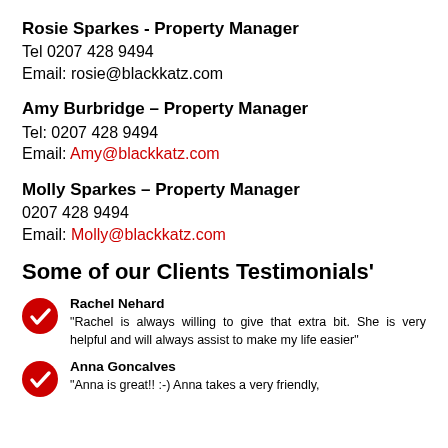Rosie Sparkes - Property Manager
Tel 0207 428 9494
Email: rosie@blackkatz.com
Amy Burbridge – Property Manager
Tel: 0207 428 9494
Email: Amy@blackkatz.com
Molly Sparkes – Property Manager
0207 428 9494
Email: Molly@blackkatz.com
Some of our Clients Testimonials'
Rachel Nehard
"Rachel is always willing to give that extra bit. She is very helpful and will always assist to make my life easier"
Anna Goncalves
"Anna is great!! :-) Anna takes a very friendly,